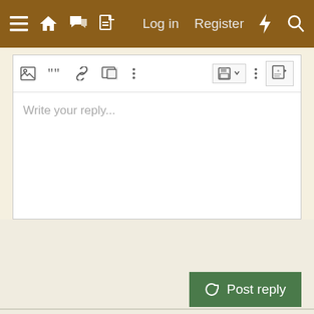≡  🏠  💬  📄    Log in   Register   ⚡   🔍
[Figure (screenshot): Forum reply editor with toolbar icons (image, quote, link, media, more) and placeholder text 'Write your reply...' with save and preview buttons]
Post reply
Similar threads
Can i keep adult ducks on a river?
Goatgirl23 · Ducks
Replies: 10 · May 7, 2022
Can Ducks live happily and healthy without pond
NinjaGamer2022 · Ducks